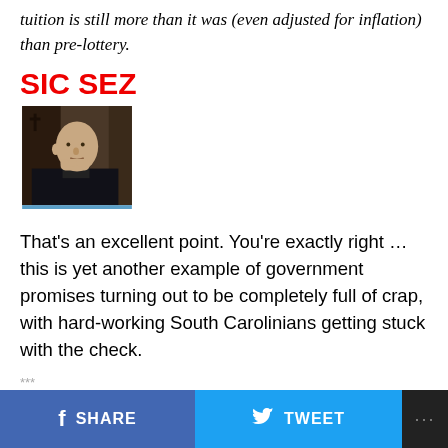tuition is still more than it was (even adjusted for inflation) than pre-lottery.
SIC SEZ
[Figure (photo): Headshot of a bald man with hand on chin, thinking pose, with blue bar at bottom]
That's an excellent point. You're exactly right … this is yet another example of government promises turning out to be completely full of crap, with hard-working South Carolinians getting stuck with the check.
***
SHARE   TWEET   ...